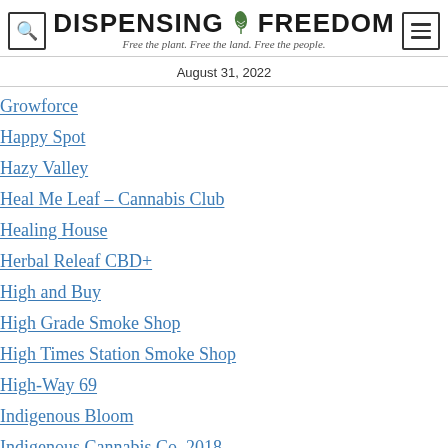DISPENSING ✿ FREEDOM — Free the plant. Free the land. Free the people.
August 31, 2022
Growforce
Happy Spot
Hazy Valley
Heal Me Leaf – Cannabis Club
Healing House
Herbal Releaf CBD+
High and Buy
High Grade Smoke Shop
High Times Station Smoke Shop
High-Way 69
Indigenous Bloom
Indigenous Cannabis Co. 2018